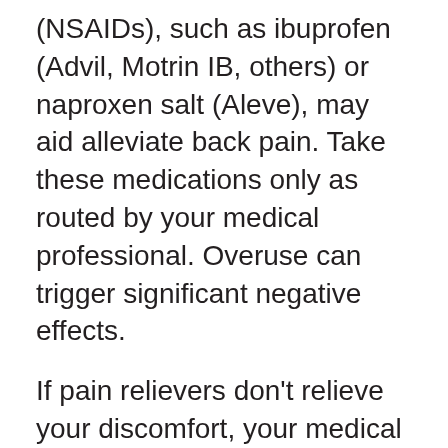(NSAIDs), such as ibuprofen (Advil, Motrin IB, others) or naproxen salt (Aleve), may aid alleviate back pain. Take these medications only as routed by your medical professional. Overuse can trigger significant negative effects.
If pain relievers don't relieve your discomfort, your medical professional may recommend prescription Muscular tissue depressants. If mild to regulate back pain does not boost with pain relievers, your medical professional could also suggest a muscular tissue relaxant. Muscle mass relaxants can make you lightheaded and also drowsy.
Topical pain relievers. These items supply